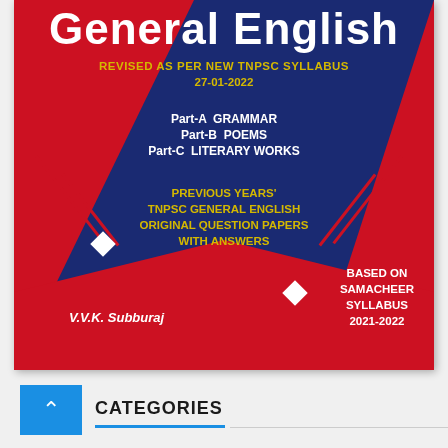[Figure (illustration): Book cover for 'General English' — revised as per new TNPSC syllabus 27-01-2022. Dark blue background with red triangular design elements. Contains Part-A Grammar, Part-B Poems, Part-C Literary Works, Previous Years TNPSC General English Original Question Papers with Answers, Based on Samacheer Syllabus 2021-2022, authored by V.V.K. Subburaj.]
CATEGORIES